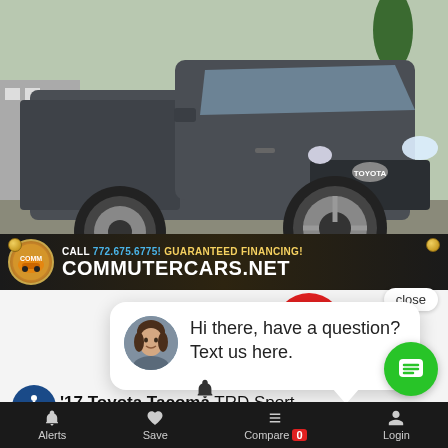[Figure (photo): Gray Toyota Tacoma TRD Sport pickup truck photographed from front-left angle in a parking lot]
CALL 772.675.6775! GUARANTEED FINANCING! COMMUTERCARS.NET
close
Hi there, have a question? Text us here.
'17 Toyota Tacoma TRD Sport
Miles: 106,993   Stock: HX112438K
Alerts   Save   Compare 0   Login